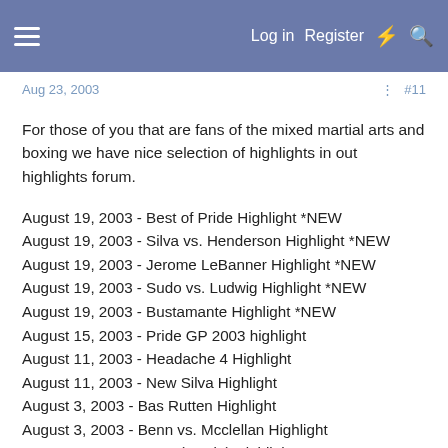Log in  Register
Aug 23, 2003  #11
For those of you that are fans of the mixed martial arts and boxing we have nice selection of highlights in out highlights forum.
August 19, 2003 - Best of Pride Highlight *NEW
August 19, 2003 - Silva vs. Henderson Highlight *NEW
August 19, 2003 - Jerome LeBanner Highlight *NEW
August 19, 2003 - Sudo vs. Ludwig Highlight *NEW
August 19, 2003 - Bustamante Highlight *NEW
August 15, 2003 - Pride GP 2003 highlight
August 11, 2003 - Headache 4 Highlight
August 11, 2003 - New Silva Highlight
August 3, 2003 - Bas Rutten Highlight
August 3, 2003 - Benn vs. Mcclellan Highlight
August 3, 2003 - AFC1 (russia) Highlight
July 30, 2003 - Brutal Mma Highlight
July 30, 2003 - Mike Tyson Highlight
July 30, 2003 - Catfight Highlight